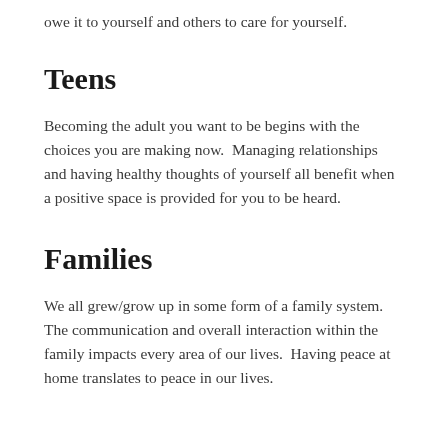owe it to yourself and others to care for yourself.
Teens
Becoming the adult you want to be begins with the choices you are making now.  Managing relationships and having healthy thoughts of yourself all benefit when a positive space is provided for you to be heard.
Families
We all grew/grow up in some form of a family system. The communication and overall interaction within the family impacts every area of our lives.  Having peace at home translates to peace in our lives.